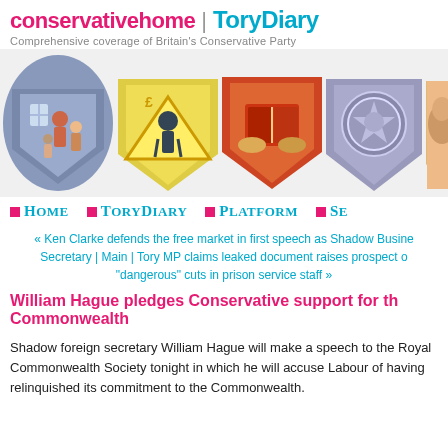conservativehome | ToryDiary
Comprehensive coverage of Britain's Conservative Party
[Figure (illustration): A row of five illustrated shield-shaped emblems against a white background, depicting: 1) a family scene (housing), 2) a construction worker on a road sign (employment/infrastructure), 3) hands exchanging a book (education/economy), 4) a police badge/emblem (law and order), 5) a curled figure (health/welfare). Colourful illustration style.]
HOME   TORYDIARY   PLATFORM   SE...
« Ken Clarke defends the free market in first speech as Shadow Business Secretary | Main | Tory MP claims leaked document raises prospect of "dangerous" cuts in prison service staff »
William Hague pledges Conservative support for the Commonwealth
Shadow foreign secretary William Hague will make a speech to the Royal Commonwealth Society tonight in which he will accuse Labour of having relinquished its commitment to the Commonwealth.